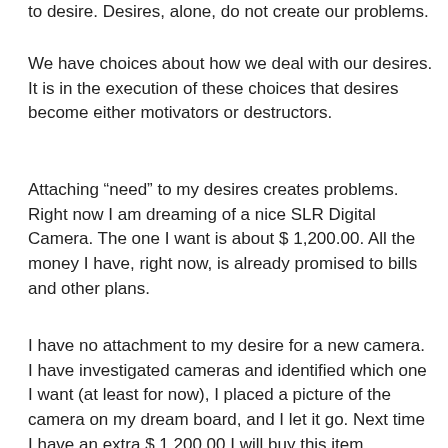to desire. Desires, alone, do not create our problems.
We have choices about how we deal with our desires. It is in the execution of these choices that desires become either motivators or destructors.
Attaching “need” to my desires creates problems. Right now I am dreaming of a nice SLR Digital Camera. The one I want is about $ 1,200.00. All the money I have, right now, is already promised to bills and other plans.
I have no attachment to my desire for a new camera. I have investigated cameras and identified which one I want (at least for now), I placed a picture of the camera on my dream board, and I let it go. Next time I have an extra $ 1,200.00 I will buy this item.